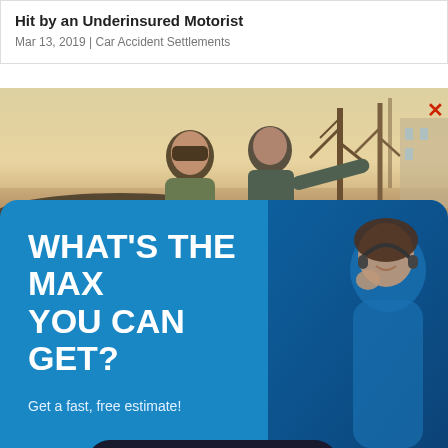Hit by an Underinsured Motorist
Mar 13, 2019 | Car Accident Settlements
[Figure (photo): Two men examining car damage outdoors with bare winter trees in background; a close button (×) appears top right]
[Figure (infographic): Blue rounded advertisement panel with headline 'WHAT'S THE MAX YOU CAN GET?', subtext 'Get a fast, free estimate!', a dark 'FIND OUT NOW, FOR FREE!' button, and a woman with headset visible on the right side]